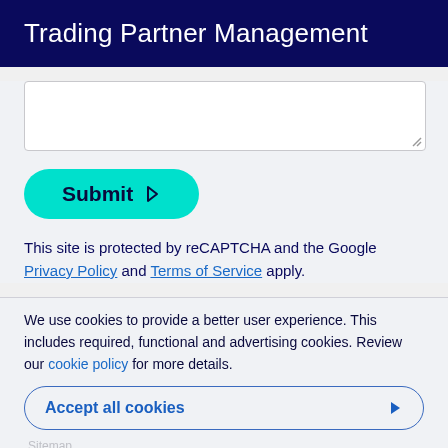Trading Partner Management
[Figure (screenshot): White textarea input box with resize handle in bottom-right corner]
[Figure (screenshot): Teal/cyan Submit button with right-pointing arrow icon]
This site is protected by reCAPTCHA and the Google Privacy Policy and Terms of Service apply.
We use cookies to provide a better user experience. This includes required, functional and advertising cookies. Review our cookie policy for more details.
Accept all cookies
Customized settings